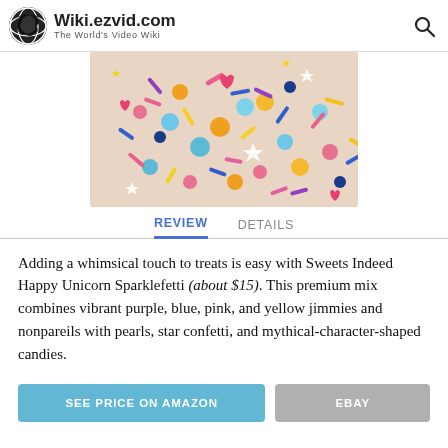Wiki.ezvid.com – The World's Video Wiki
[Figure (photo): Colorful sprinkles, pearls, and unicorn-shaped candies mix — Sweets Indeed Happy Unicorn Sparklefetti product photo]
REVIEW   DETAILS
Adding a whimsical touch to treats is easy with Sweets Indeed Happy Unicorn Sparklefetti (about $15). This premium mix combines vibrant purple, blue, pink, and yellow jimmies and nonpareils with pearls, star confetti, and mythical-character-shaped candies.
SEE PRICE ON AMAZON
EBAY